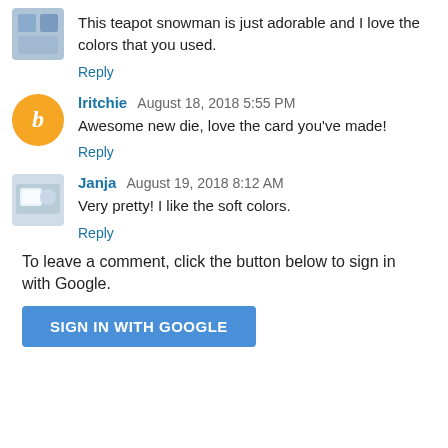This teapot snowman is just adorable and I love the colors that you used.
Reply
lritchie August 18, 2018 5:55 PM
Awesome new die, love the card you've made!
Reply
Janja August 19, 2018 8:12 AM
Very pretty! I like the soft colors.
Reply
To leave a comment, click the button below to sign in with Google.
SIGN IN WITH GOOGLE